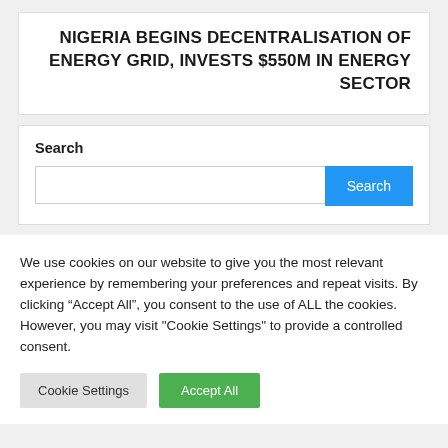NIGERIA BEGINS DECENTRALISATION OF ENERGY GRID, INVESTS $550M IN ENERGY SECTOR
Search
We use cookies on our website to give you the most relevant experience by remembering your preferences and repeat visits. By clicking “Accept All”, you consent to the use of ALL the cookies. However, you may visit "Cookie Settings" to provide a controlled consent.